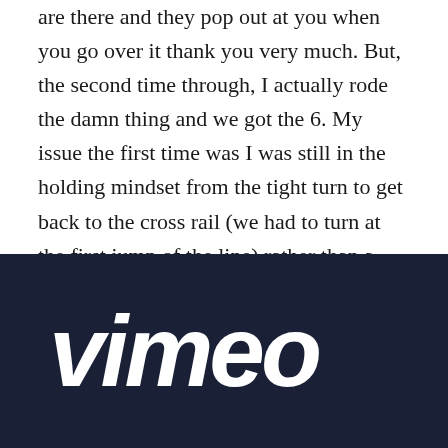are there and they pop out at you when you go over it thank you very much. But, the second time through, I actually rode the damn thing and we got the 6. My issue the first time was I was still in the holding mindset from the tight turn to get back to the cross rail (we had to turn at the first jump of the line) rather than a going mode to make the line.
[Figure (logo): Vimeo logo — white italic bold text 'vimeo' on a dark navy background]